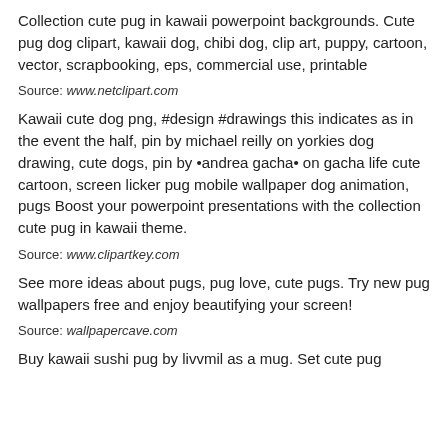Collection cute pug in kawaii powerpoint backgrounds. Cute pug dog clipart, kawaii dog, chibi dog, clip art, puppy, cartoon, vector, scrapbooking, eps, commercial use, printable
Source: www.netclipart.com
Kawaii cute dog png, #design #drawings this indicates as in the event the half, pin by michael reilly on yorkies dog drawing, cute dogs, pin by •andrea gacha• on gacha life cute cartoon, screen licker pug mobile wallpaper dog animation, pugs Boost your powerpoint presentations with the collection cute pug in kawaii theme.
Source: www.clipartkey.com
See more ideas about pugs, pug love, cute pugs. Try new pug wallpapers free and enjoy beautifying your screen!
Source: wallpapercave.com
Buy kawaii sushi pug by livvmil as a mug. Set cute pug